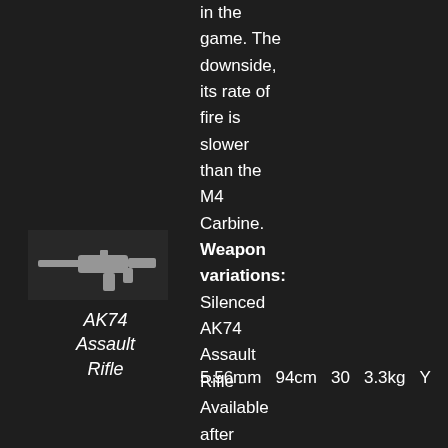in the game. The downside, its rate of fire is slower than the M4 Carbine. Weapon variations: Silenced AK74 Assault Rifle - Available after achieving
[Figure (photo): Small image of the AK74 Assault Rifle weapon icon against dark background]
AK74 Assault Rifle
| 5.56mm | 94cm | 30 | 3.3kg | Y |
| --- | --- | --- | --- | --- |